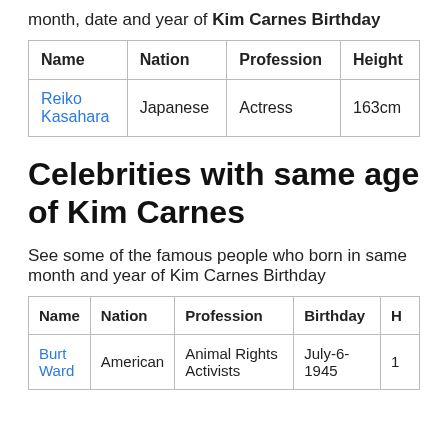month, date and year of Kim Carnes Birthday
| Name | Nation | Profession | Height |
| --- | --- | --- | --- |
| Reiko Kasahara | Japanese | Actress | 163cm |
Celebrities with same age of Kim Carnes
See some of the famous people who born in same month and year of Kim Carnes Birthday
| Name | Nation | Profession | Birthday | H |
| --- | --- | --- | --- | --- |
| Burt Ward | American | Animal Rights Activists | July-6-1945 | 1 |